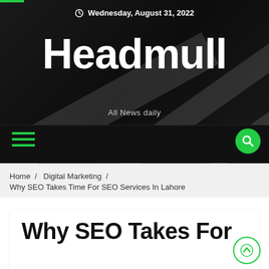Wednesday, August 31, 2022
Headmull
All News daily
Home / Digital Marketing / Why SEO Takes Time For SEO Services In Lahore
Why SEO Takes Time For